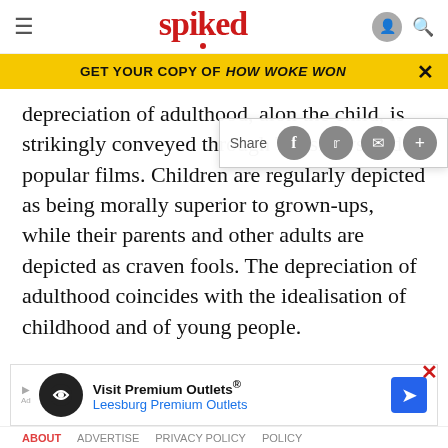spiked
GET YOUR COPY OF HOW WOKE WON
depreciation of adulthood, alon[g with the idealisation of] the child, is strikingly conveyed through TV shows and popular films. Children are regularly depicted as being morally superior to grown-ups, while their parents and other adults are depicted as craven fools. The depreciation of adulthood coincides with the idealisation of childhood and of young people.

Until the twentieth century, calling into question the power[...]
[Figure (screenshot): Advertisement for Visit Premium Outlets / Leesburg Premium Outlets]
ABOUT  [navigation links]  PRIVACY POLICY